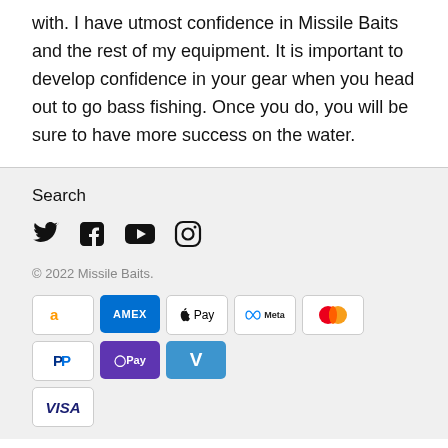with. I have utmost confidence in Missile Baits and the rest of my equipment. It is important to develop confidence in your gear when you head out to go bass fishing. Once you do, you will be sure to have more success on the water.
Search
[Figure (other): Social media icons: Twitter, Facebook, YouTube, Instagram]
© 2022 Missile Baits.
[Figure (other): Payment method badges: Amazon, AMEX, Apple Pay, Meta Pay, Mastercard, PayPal, G Pay, Venmo, Visa]